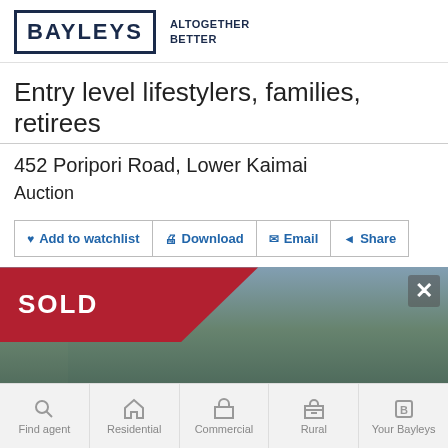[Figure (logo): Bayleys logo with text ALTOGETHER BETTER]
Entry level lifestylers, families, retirees
452 Poripori Road, Lower Kaimai
Auction
Add to watchlist
Download
Email
Share
[Figure (photo): Property photo with SOLD ribbon overlay and a close button. Background shows a blurred rural/landscape scene.]
Find agent | Residential | Commercial | Rural | Your Bayleys